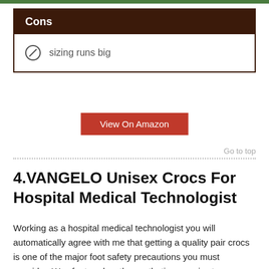| Cons |
| --- |
| sizing runs big |
View On Amazon
Go to top
4.VANGELO Unisex Crocs For Hospital Medical Technologist
Working as a hospital medical technologist you will automatically agree with me that getting a quality pair crocs is one of the major foot safety precautions you must consider. Was featured as the synthetic upper is stra...